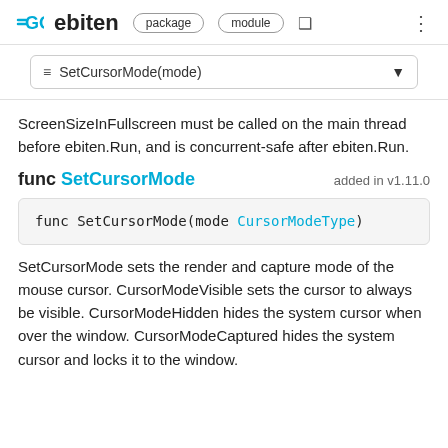GO ebiten  package  module
≡ SetCursorMode(mode)
ScreenSizeInFullscreen must be called on the main thread before ebiten.Run, and is concurrent-safe after ebiten.Run.
func SetCursorMode   added in v1.11.0
func SetCursorMode(mode CursorModeType)
SetCursorMode sets the render and capture mode of the mouse cursor. CursorModeVisible sets the cursor to always be visible. CursorModeHidden hides the system cursor when over the window. CursorModeCaptured hides the system cursor and locks it to the window.